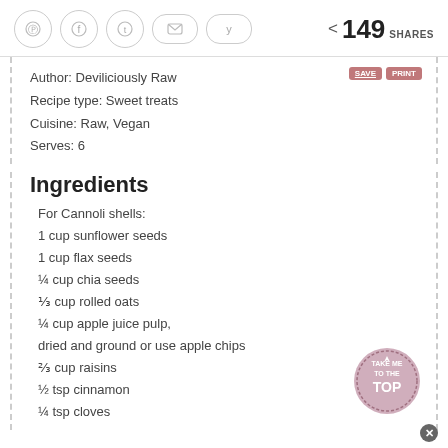Social share buttons: Pinterest, Facebook, Twitter, Email, Yummly | < 149 SHARES
Author: Deviliciously Raw
Recipe type: Sweet treats
Cuisine: Raw, Vegan
Serves: 6
Ingredients
For Cannoli shells:
1 cup sunflower seeds
1 cup flax seeds
¼ cup chia seeds
⅓ cup rolled oats
¼ cup apple juice pulp,
dried and ground or use apple chips
⅔ cup raisins
½ tsp cinnamon
¼ tsp cloves